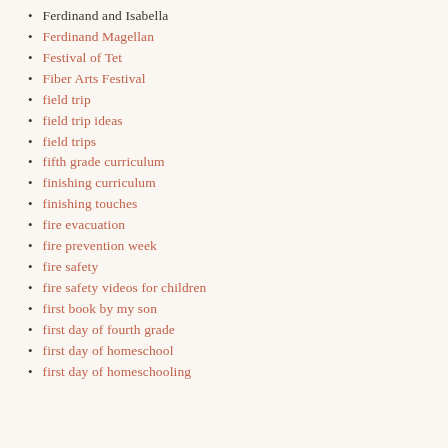Ferdinand and Isabella
Ferdinand Magellan
Festival of Tet
Fiber Arts Festival
field trip
field trip ideas
field trips
fifth grade curriculum
finishing curriculum
finishing touches
fire evacuation
fire prevention week
fire safety
fire safety videos for children
first book by my son
first day of fourth grade
first day of homeschool
first day of homeschooling